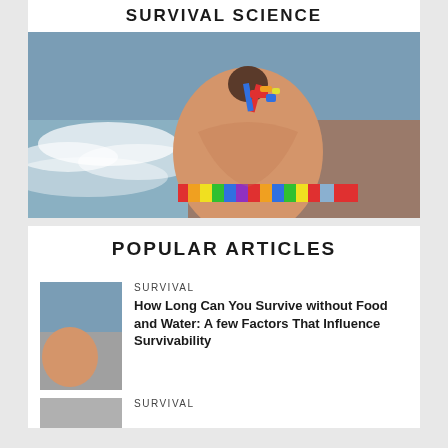SURVIVAL SCIENCE
[Figure (photo): Woman in colorful striped bikini top viewed from behind, facing ocean waves on a beach]
POPULAR ARTICLES
SURVIVAL
How Long Can You Survive without Food and Water: A few Factors That Influence Survivability
SURVIVAL